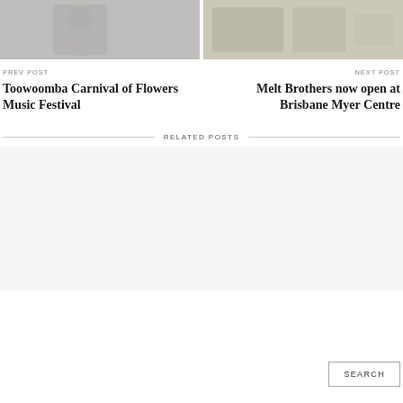[Figure (photo): Left navigation post image — person holding a musical instrument, muted gray tones]
[Figure (photo): Right navigation post image — people in a shop or exhibition space, muted beige tones]
PREV POST
NEXT POST
Toowoomba Carnival of Flowers Music Festival
Melt Brothers now open at Brisbane Myer Centre
RELATED POSTS
SEARCH